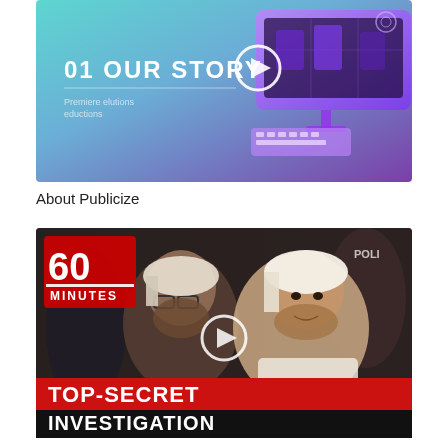[Figure (screenshot): Video thumbnail with teal-to-purple gradient background, text '01 OUR STORY' with a white play button circle icon, small text 'Premiere elutions eductions', and a 3D purple computer monitor illustration with a person on screen, on the right side.]
About Publicize
[Figure (screenshot): 60 Minutes video thumbnail showing two men (one in traditional Arab dress, one in Saudi royal attire), with a white play button circle in the center. Red and white text banners at the bottom read 'TOP-SECRET INVESTIGATION'. The 60 Minutes logo is in the top-left corner. Background shows security forces.]